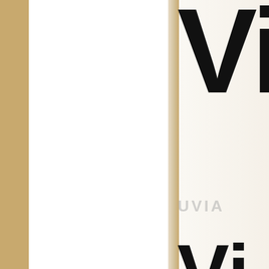[Figure (illustration): Partial view of large bold logo text 'Vi' in black, very large font, cropped at right edge of page]
“Born to be Wild” Jungle M
Add more “Born to be Wild” J guests. Unique design with ade but also edible favors. They are
[Figure (illustration): Partial view of another large bold letter, appears to be 'U' or next word in logo, cropped]